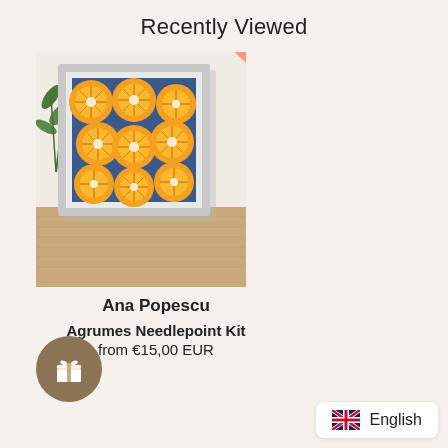Recently Viewed
[Figure (photo): Photo of a framed needlepoint art piece showing orange citrus slices on a blue background, displayed on a wooden surface with plant leaves in the background. A coral/orange ribbon banner in the top-right corner reads 'Stitch Guide Available'.]
Ana Popescu
Agrumes Needlepoint Kit
from €15,00 EUR
[Figure (illustration): Brown circular gift icon button]
English